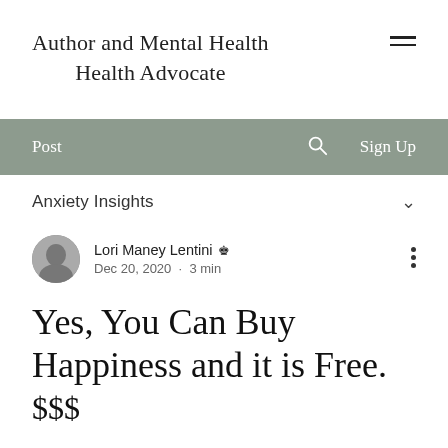Author and Mental Health Advocate
Post   Sign Up
Anxiety Insights
Lori Maney Lentini  Dec 20, 2020  ·  3 min
Yes, You Can Buy Happiness and it is Free. $$$